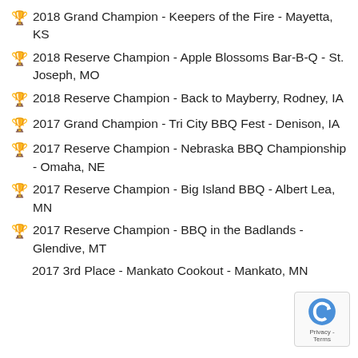🏆 2018 Grand Champion - Keepers of the Fire - Mayetta, KS
🏆 2018 Reserve Champion - Apple Blossoms Bar-B-Q - St. Joseph, MO
🏆 2018 Reserve Champion - Back to Mayberry, Rodney, IA
🏆 2017 Grand Champion - Tri City BBQ Fest - Denison, IA
🏆 2017 Reserve Champion - Nebraska BBQ Championship - Omaha, NE
🏆 2017 Reserve Champion - Big Island BBQ - Albert Lea, MN
🏆 2017 Reserve Champion - BBQ in the Badlands - Glendive, MT
2017 3rd Place - Mankato Cookout - Mankato, MN